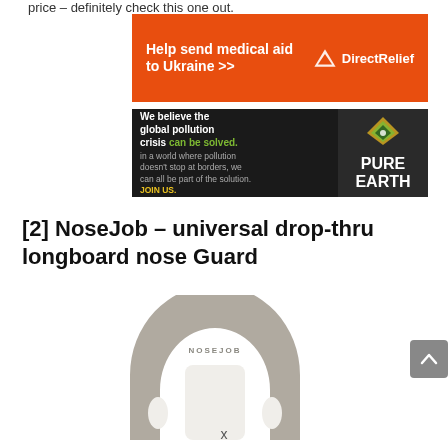price – definitely check this one out.
[Figure (other): Direct Relief advertisement: orange banner reading 'Help send medical aid to Ukraine >>' with Direct Relief logo]
[Figure (other): Pure Earth advertisement: dark banner with text 'We believe the global pollution crisis can be solved. In a world where pollution doesn't stop at borders, we can all be part of the solution. JOIN US.' and Pure Earth logo]
[2] NoseJob – universal drop-thru longboard nose Guard
[Figure (photo): Product photo of NoseJob universal drop-thru longboard nose guard – a horseshoe-shaped grey plastic piece with NOSEJOB embossed text and two oval holes on bottom sides]
x